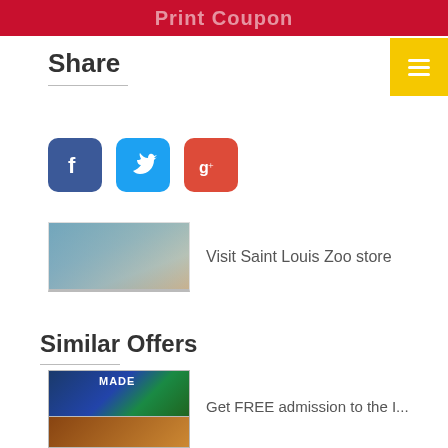Print Coupon
Share
[Figure (other): Social media share icons: Facebook (blue), Twitter (light blue), Google+ (red)]
[Figure (photo): Children at Saint Louis Zoo]
Visit Saint Louis Zoo store
Similar Offers
[Figure (photo): People at an exhibit, with MADE sign]
Get FREE admission to the I...
[Figure (photo): Partially visible image at bottom]